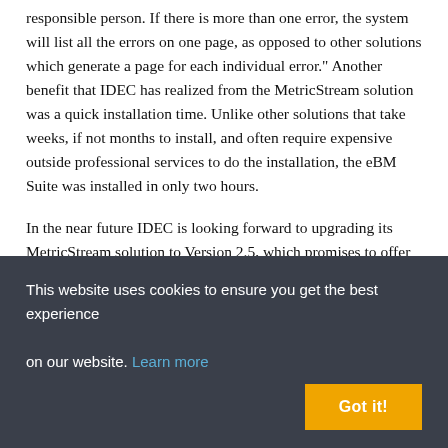responsible person. If there is more than one error, the system will list all the errors on one page, as opposed to other solutions which generate a page for each individual error." Another benefit that IDEC has realized from the MetricStream solution was a quick installation time. Unlike other solutions that take weeks, if not months to install, and often require expensive outside professional services to do the installation, the eBM Suite was installed in only two hours.
In the near future IDEC is looking forward to upgrading its MetricStream solution to Version 2.5, which promises to offer more flexible scheduling functionality. Specifically, the updated software will help IDEC determine the best times to perform
This website uses cookies to ensure you get the best experience on our website. Learn more